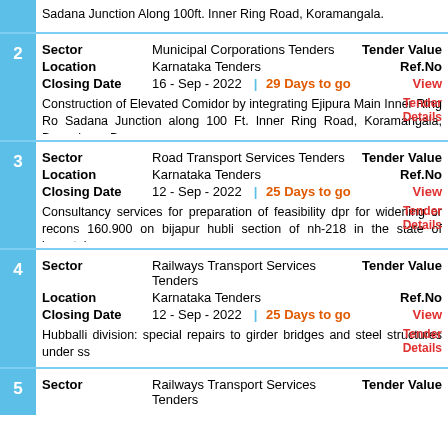| # | Field | Value | Right Label | Right Value |
| --- | --- | --- | --- | --- |
| 1 (partial) | Description | Sadana Junction Along 100ft. Inner Ring Road, Koramangala. |  |  |
| 2 | Sector | Municipal Corporations Tenders | Tender Value |  |
| 2 | Location | Karnataka Tenders | Ref.No |  |
| 2 | Closing Date | 16 - Sep - 2022 | 29 Days to go | View |  |
| 2 | Description | Construction of Elevated Comidor by integrating Ejipura Main Inner Ring Ro... Sadana Junction along 100 Ft. Inner Ring Road, Koramangala, Bengaluru - Ba... | Tender Details |  |
| 3 | Sector | Road Transport Services Tenders | Tender Value |  |
| 3 | Location | Karnataka Tenders | Ref.No |  |
| 3 | Closing Date | 12 - Sep - 2022 | 25 Days to go | View |  |
| 3 | Description | Consultancy services for preparation of feasibility dpr for widening or recons... 160.900 on bijapur hubli section of nh-218 in the state of karnataka. | Tender Details |  |
| 4 | Sector | Railways Transport Services Tenders | Tender Value |  |
| 4 | Location | Karnataka Tenders | Ref.No |  |
| 4 | Closing Date | 12 - Sep - 2022 | 25 Days to go | View |  |
| 4 | Description | Hubballi division: special repairs to girder bridges and steel structures under ss... | Tender Details |  |
| 5 | Sector | Railways Transport Services Tenders | Tender Value |  |